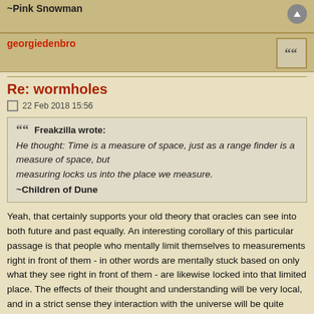~Pink Snowman
georgiedenbro
Re: wormholes
22 Feb 2018 15:56
Freakzilla wrote:
He thought: Time is a measure of space, just as a range finder is a measure of space, but
measuring locks us into the place we measure.
~Children of Dune
Yeah, that certainly supports your old theory that oracles can see into both future and past equally. An interesting corollary of this particular passage is that people who mentally limit themselves to measurements right in front of them - in other words are mentally stuck based on only what they see right in front of them - are likewise locked into that limited place. The effects of their thought and understanding will be very local, and in a strict sense they interaction with the universe will be quite limited. Whereas for someone conducting measurements on a large scale of space will likewise we less locked into any particular place (or time) and will be able to integrate more of the universe into their calculations and actions. So for